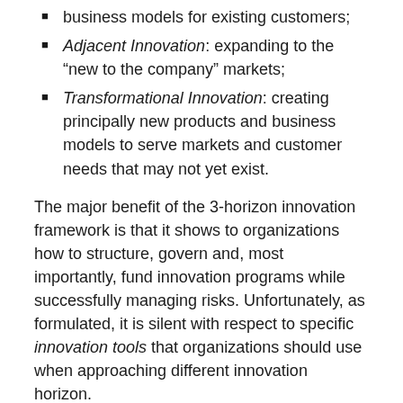business models for existing customers;
Adjacent Innovation: expanding to the “new to the company” markets;
Transformational Innovation: creating principally new products and business models to serve markets and customer needs that may not yet exist.
The major benefit of the 3-horizon innovation framework is that it shows to organizations how to structure, govern and, most importantly, fund innovation programs while successfully managing risks. Unfortunately, as formulated, it is silent with respect to specific innovation tools that organizations should use when approaching different innovation horizon.
Earlier, I proposed a “map” of open innovation tools and attempted to match some of these tools (here and here) to